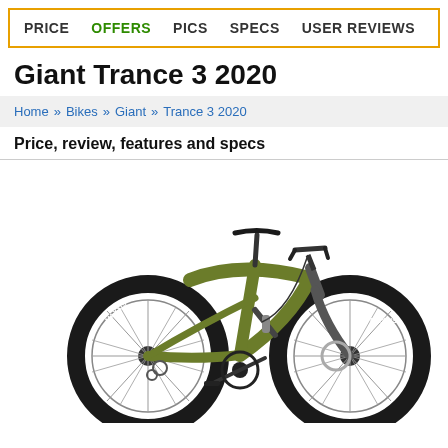PRICE  OFFERS  PICS  SPECS  USER REVIEWS
Giant Trance 3 2020
Home » Bikes » Giant » Trance 3 2020
Price, review, features and specs
[Figure (photo): Green Giant Trance 3 2020 full-suspension mountain bike with Maxxis tires, viewed from the right side]